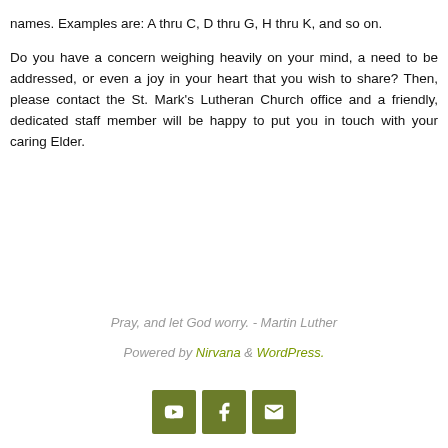names. Examples are: A thru C, D thru G, H thru K, and so on.
Do you have a concern weighing heavily on your mind, a need to be addressed, or even a joy in your heart that you wish to share? Then, please contact the St. Mark's Lutheran Church office and a friendly, dedicated staff member will be happy to put you in touch with your caring Elder.
Pray, and let God worry. - Martin Luther
Powered by Nirvana & WordPress.
[Figure (other): Three icon buttons: YouTube, Facebook, and Email/envelope, styled with olive/dark green background]